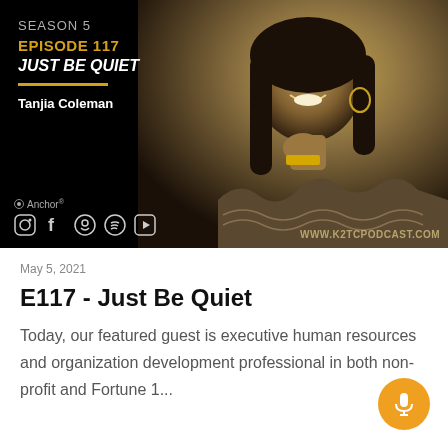[Figure (photo): Podcast banner image for K2TC Podcast Season 5, Episode 117 'Just Be Quiet' featuring Tanjia Coleman. Black background on left with show info text and social media icons. Right side shows black and white sepia-toned portrait of a smiling woman (Tanjia Coleman) with hand on chin.]
May 5, 2021
E117 - Just Be Quiet
Today, our featured guest is executive human resources and organization development professional in both non-profit and Fortune 1...